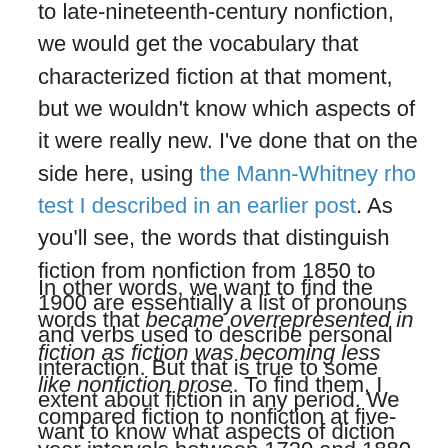to late-nineteenth-century nonfiction, we would get the vocabulary that characterized fiction at that moment, but we wouldn't know which aspects of it were really new. I've done that on the side here, using the Mann-Whitney rho test I described in an earlier post. As you'll see, the words that distinguish fiction from nonfiction from 1850 to 1900 are essentially a list of pronouns and verbs used to describe personal interaction. But that is true to some extent about fiction in any period. We want to know what aspects of diction had changed.
In other words, we want to find the words that became overrepresented in fiction as fiction was becoming less like nonfiction prose. To find them, I compared fiction to nonfiction at five-year intervals between 1720 and 1880. At each interval I selected a 39-year slice of the collection and ranked words according to the extent to which they